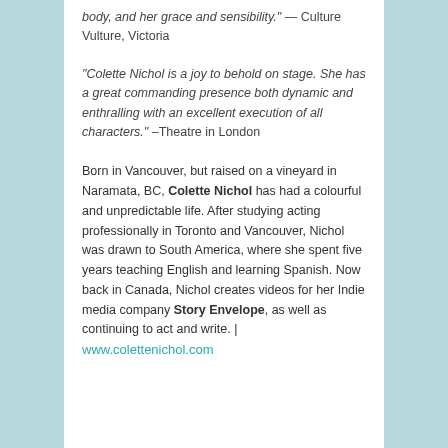“body, and her grace and sensibility.” — Culture Vulture, Victoria
“Colette Nichol is a joy to behold on stage. She has a great commanding presence both dynamic and enthralling with an excellent execution of all characters.” –Theatre in London
Born in Vancouver, but raised on a vineyard in Naramata, BC, Colette Nichol has had a colourful and unpredictable life. After studying acting professionally in Toronto and Vancouver, Nichol was drawn to South America, where she spent five years teaching English and learning Spanish. Now back in Canada, Nichol creates videos for her Indie media company Story Envelope, as well as continuing to act and write. | www.colettenichol.com